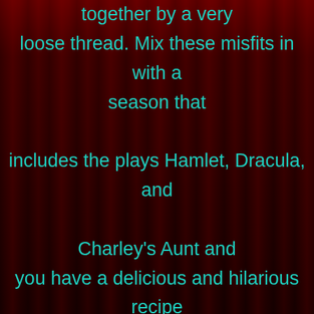together by a very loose thread. Mix these misfits in with a season that includes the plays Hamlet, Dracula, and Charley's Aunt and you have a delicious and hilarious recipe for disaster. Everyone person in theatre has a tale of something that went wrong in a production, so imagine if all of these things happened at ONCE! That is Laughingstock. While the show is